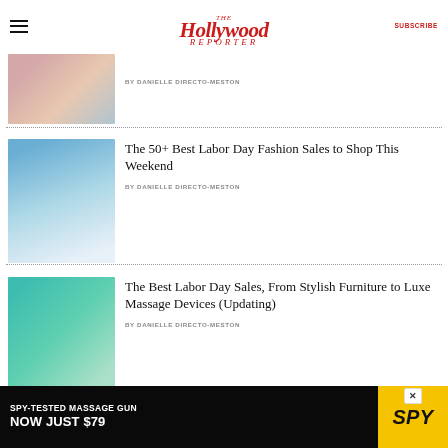The Hollywood Reporter — SUBSCRIBE
[Figure (photo): Partial view of colorful cookware on a kitchen counter with a pink towel]
BY DANIELLE DIRECTO-MESTON
The 50+ Best Labor Day Fashion Sales to Shop This Weekend
BY DANIELLE DIRECTO-MESTON
[Figure (photo): Woman in blue swimsuit climbing a white lifeguard tower against a blue sky]
The Best Labor Day Sales, From Stylish Furniture to Luxe Massage Devices (Updating)
BY DANIELLE DIRECTO-MESTON
[Figure (photo): Outdoor table with beverages on a teal/turquoise background with palm leaves]
[Figure (photo): Advertisement banner: SPY-TESTED MASSAGE GUN NOW JUST $79 with SPY logo in yellow]